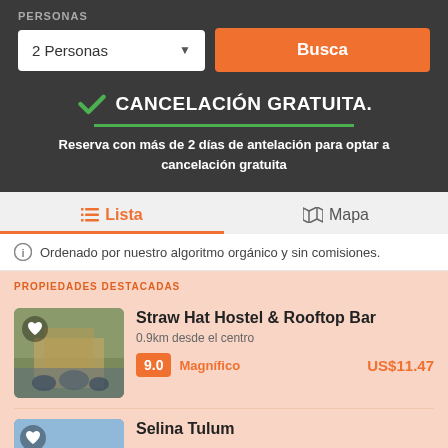PERSONAS
2 Personas
Busca
CANCELACIÓN GRATUITA.
Reserva con más de 2 días de antelación para optar a cancelación gratuita
Lista
Mapa
Ordenado por nuestro algoritmo orgánico y sin comisiones.
PROPIEDADES DESTACADAS
Straw Hat Hostel & Rooftop Bar
0.9km desde el centro
9.0  Magnífico  US$11.47
Selina Tulum